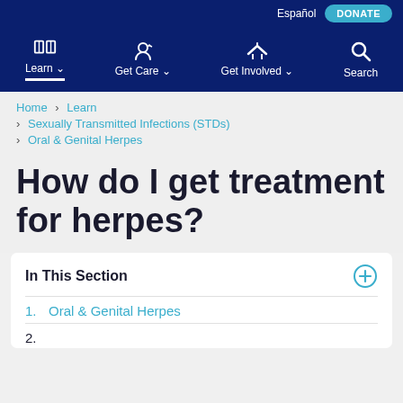Español  DONATE
Learn  Get Care  Get Involved  Search
Home > Learn > Sexually Transmitted Infections (STDs) > Oral & Genital Herpes
How do I get treatment for herpes?
In This Section
1. Oral & Genital Herpes
2. (partially visible)